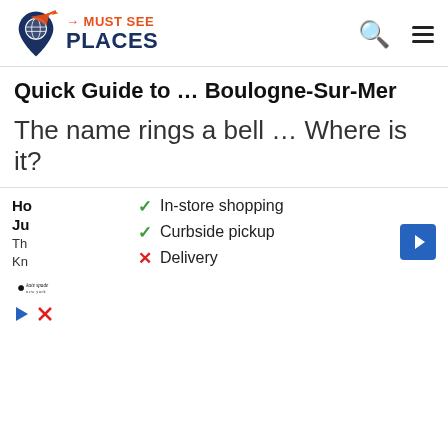[Figure (logo): Must See Places logo with globe/location pin icon, orange arrow, text MUST SEE in orange and PLACES in dark blue]
Quick Guide to … Boulogne-Sur-Mer
The name rings a bell … Where is it?
Situated on the Côte d'Opale in the Pas-de-Calais
[Figure (screenshot): Promoted ad overlay with two images: left showing a classical white columned building (US Supreme Court), right showing a fitness/food image. Below is a Kate Spade ad with checklist: In-store shopping (check), Curbside pickup (check), Delivery (X), and a blue navigation arrow icon.]